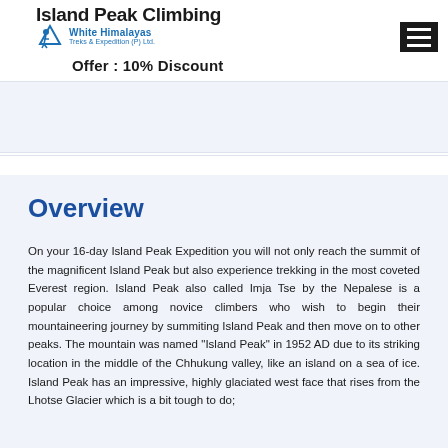Island Peak Climbing
[Figure (logo): White Himalayas Treks & Expedition (P) Ltd. logo with hiker icon]
Offer : 10% Discount
Overview
On your 16-day Island Peak Expedition you will not only reach the summit of the magnificent Island Peak but also experience trekking in the most coveted Everest region. Island Peak also called Imja Tse by the Nepalese is a popular choice among novice climbers who wish to begin their mountaineering journey by summiting Island Peak and then move on to other peaks. The mountain was named "Island Peak" in 1952 AD due to its striking location in the middle of the Chhukung valley, like an island on a sea of ice. Island Peak has an impressive, highly glaciated west face that rises from the Lhotse Glacier which is a bit tough to do;